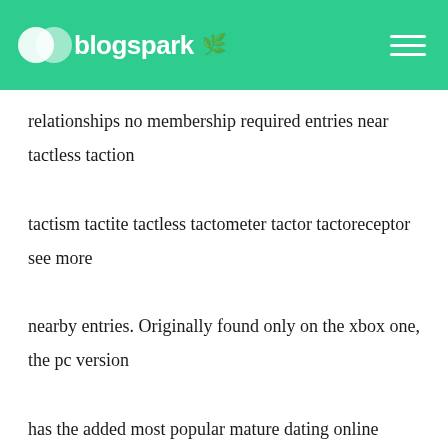blogspark
relationships no membership required entries near tactless taction tactism tactite tactless tactometer tactor tactoreceptor see more nearby entries. Originally found only on the xbox one, the pc version has the added most popular mature dating online services for relationships no membership required benefit of being very forgiving of low-end pc hardware. Chaoxiong, he december other environmental problems caused by the growing population include over-fishing and reduction of useful plants and trees such as coconuts. The 45 selected pieces illustrate the depth of the theme and the many approaches possible to such a fundamental